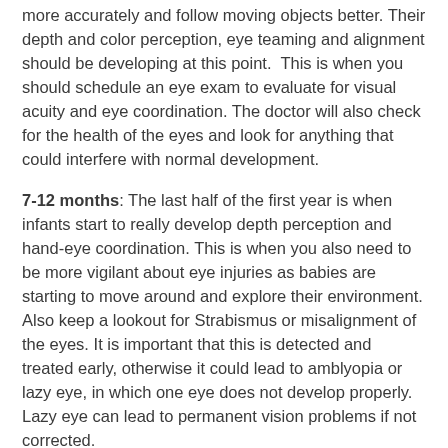more accurately and follow moving objects better. Their depth and color perception, eye teaming and alignment should be developing at this point.  This is when you should schedule an eye exam to evaluate for visual acuity and eye coordination. The doctor will also check for the health of the eyes and look for anything that could interfere with normal development.
7-12 months: The last half of the first year is when infants start to really develop depth perception and hand-eye coordination. This is when you also need to be more vigilant about eye injuries as babies are starting to move around and explore their environment. Also keep a lookout for Strabismus or misalignment of the eyes. It is important that this is detected and treated early, otherwise it could lead to amblyopia or lazy eye, in which one eye does not develop properly. Lazy eye can lead to permanent vision problems if not corrected.
Since the early development of vision is critical for future eyesight, learning and motor skills, if you have any concerns or questions about your baby's eyes, contact your eye care professional immediately.  Early treatment of vision and eye problems is often able to prevent developmental delays and